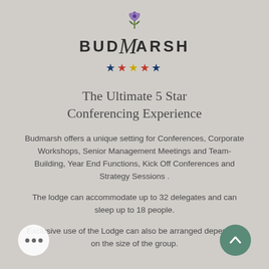[Figure (logo): Budmarsh 5-star lodge logo with purple flower icon and stylized script]
The Ultimate 5 Star Conferencing Experience
Budmarsh offers a unique setting for Conferences, Corporate Workshops, Senior Management Meetings and Team-Building, Year End Functions, Kick Off Conferences and Strategy Sessions .
The lodge can accommodate up to 32 delegates and can sleep up to 18 people.
Exclusive use of the Lodge can also be arranged depending on the size of the group.